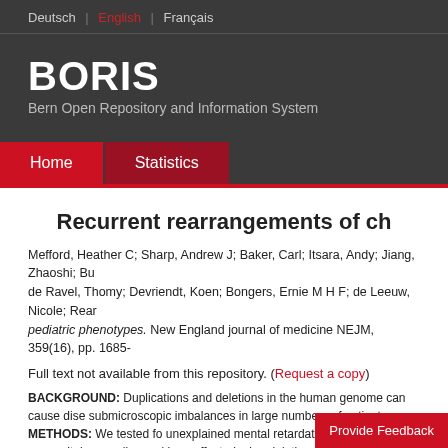Deutsch | English | Français
BORIS
Bern Open Repository and Information System
Home | Statistics
Recurrent rearrangements of ch
Mefford, Heather C; Sharp, Andrew J; Baker, Carl; Itsara, Andy; Jiang, Zhaoshi; Bu de Ravel, Thomy; Devriendt, Koen; Bongers, Ernie M H F; de Leeuw, Nicole; Rear pediatric phenotypes. New England journal of medicine NEJM, 359(16), pp. 1685-
Full text not available from this repository. (Request a copy)
BACKGROUND: Duplications and deletions in the human genome can cause dise submicroscopic imbalances in large numbers of patients. METHODS: We tested fo unexplained mental retardation, autism, or congenital anomalies and in unaffected microdeletions had arisen de novo in eight patients, were inherited from a mildly af inheritance in eight patients. The deletion was absent in a ser included mild to moderate mental retardation, microcephaly,